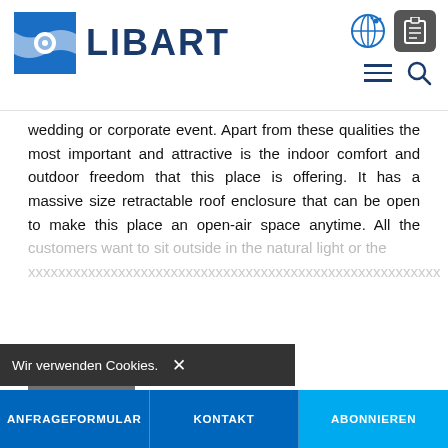[Figure (logo): Libart company logo with blue square icon containing a circular element and the text LIBART in bold dark blue]
[Figure (other): Header navigation icons: globe/world icon, clipboard button (dark grey rounded), hamburger menu lines, and search magnifying glass icon]
wedding or corporate event. Apart from these qualities the most important and attractive is the indoor comfort and outdoor freedom that this place is offering. It has a massive size retractable roof enclosure that can be open to make this place an open-air space anytime. All the customers want to sit outside in the natural light or the
[Figure (other): Grey button labeled Mehr]
[Figure (other): Two overlapping horizontal blue bars — a dark blue bar on the left and a bright cyan/light blue bar on the right]
[Figure (other): Cookie consent bar in dark grey with text Wir verwenden Cookies. and X close button]
ANFRAGEFORMULAR   KONTAKT   ABONNIEREN